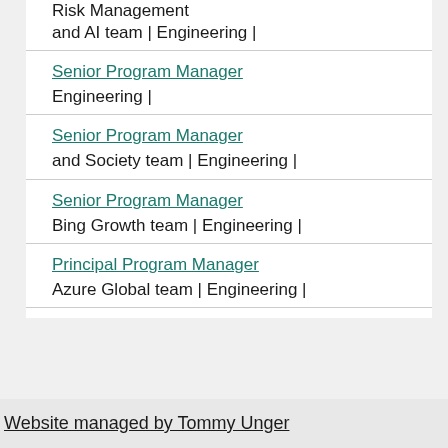Risk Management and AI team | Engineering |
Senior Program Manager
Engineering |
Senior Program Manager
and Society team | Engineering |
Senior Program Manager
Bing Growth team | Engineering |
Principal Program Manager
Azure Global team | Engineering |
Website managed by Tommy Unger